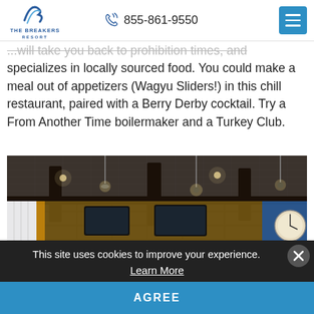THE BREAKERS RESORT | 855-861-9550
...will take you back to prohibition times, and specializes in locally sourced food. You could make a meal out of appetizers (Wagyu Sliders!) in this chill restaurant, paired with a Berry Derby cocktail. Try a From Another Time boilermaker and a Turkey Club.
[Figure (photo): Interior of a bar/restaurant with pendant lights, exposed beam ceiling, TVs on wood-paneled walls, and a bar with bottles visible in the background. Blue accent wall on right.]
This site uses cookies to improve your experience. Learn More
AGREE